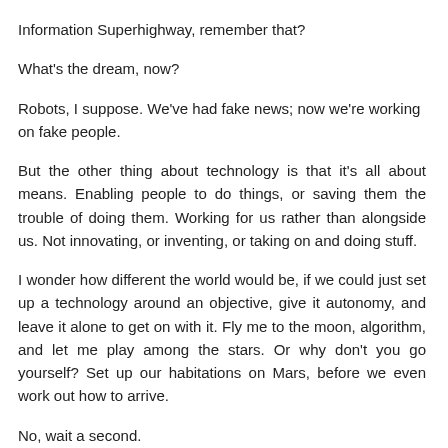Information Superhighway, remember that?
What's the dream, now?
Robots, I suppose. We've had fake news; now we're working on fake people.
But the other thing about technology is that it's all about means. Enabling people to do things, or saving them the trouble of doing them. Working for us rather than alongside us. Not innovating, or inventing, or taking on and doing stuff.
I wonder how different the world would be, if we could just set up a technology around an objective, give it autonomy, and leave it alone to get on with it. Fly me to the moon, algorithm, and let me play among the stars. Or why don't you go yourself? Set up our habitations on Mars, before we even work out how to arrive.
No, wait a second.
Technology is not about to Set up habitations, is it?